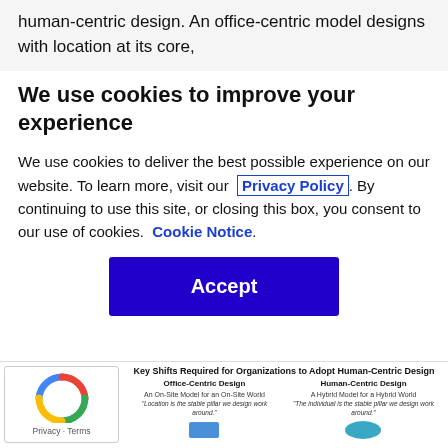human-centric design. An office-centric model designs with location at its core,
We use cookies to improve your experience
We use cookies to deliver the best possible experience on our website. To learn more, visit our  Privacy Policy . By continuing to use this site, or closing this box, you consent to our use of cookies.  Cookie Notice .
[Figure (other): Blue Accept button for cookie consent dialog]
[Figure (screenshot): Bottom strip showing reCAPTCHA badge and a figure titled 'Key Shifts Required for Organizations to Adopt Human-Centric Design' with two columns: Office-Centric Design and Human-Centric Design, each with subtitle text, quote, and colored block illustrations]